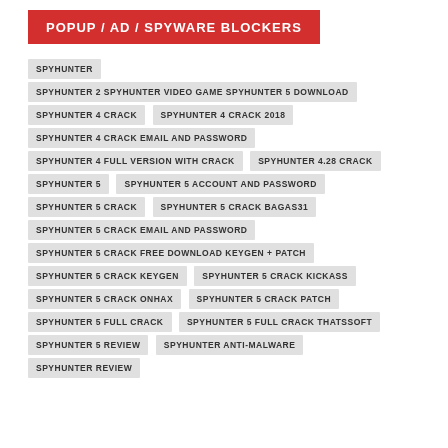POPUP / AD / SPYWARE BLOCKERS
SPYHUNTER
SPYHUNTER 2 SPYHUNTER VIDEO GAME SPYHUNTER 5 DOWNLOAD
SPYHUNTER 4 CRACK
SPYHUNTER 4 CRACK 2018
SPYHUNTER 4 CRACK EMAIL AND PASSWORD
SPYHUNTER 4 FULL VERSION WITH CRACK
SPYHUNTER 4.28 CRACK
SPYHUNTER 5
SPYHUNTER 5 ACCOUNT AND PASSWORD
SPYHUNTER 5 CRACK
SPYHUNTER 5 CRACK BAGAS31
SPYHUNTER 5 CRACK EMAIL AND PASSWORD
SPYHUNTER 5 CRACK FREE DOWNLOAD KEYGEN + PATCH
SPYHUNTER 5 CRACK KEYGEN
SPYHUNTER 5 CRACK KICKASS
SPYHUNTER 5 CRACK ONHAX
SPYHUNTER 5 CRACK PATCH
SPYHUNTER 5 FULL CRACK
SPYHUNTER 5 FULL CRACK THATSSOFT
SPYHUNTER 5 REVIEW
SPYHUNTER ANTI-MALWARE
SPYHUNTER REVIEW